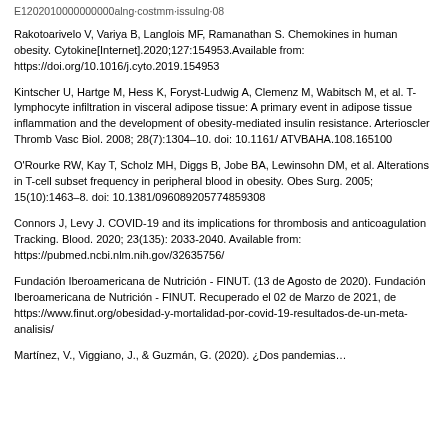Rakotoarivelo V, Variya B, Langlois MF, Ramanathan S. Chemokines in human obesity. Cytokine[Internet].2020;127:154953.Available from: https://doi.org/10.1016/j.cyto.2019.154953
Kintscher U, Hartge M, Hess K, Foryst-Ludwig A, Clemenz M, Wabitsch M, et al. T-lymphocyte infiltration in visceral adipose tissue: A primary event in adipose tissue inflammation and the development of obesity-mediated insulin resistance. Arterioscler Thromb Vasc Biol. 2008; 28(7):1304–10. doi: 10.1161/ ATVBAHA.108.165100
O'Rourke RW, Kay T, Scholz MH, Diggs B, Jobe BA, Lewinsohn DM, et al. Alterations in T-cell subset frequency in peripheral blood in obesity. Obes Surg. 2005; 15(10):1463–8. doi: 10.1381/096089205774859308
Connors J, Levy J. COVID-19 and its implications for thrombosis and anticoagulation Tracking. Blood. 2020; 23(135): 2033-2040. Available from: https://pubmed.ncbi.nlm.nih.gov/32635756/
Fundación Iberoamericana de Nutrición - FINUT. (13 de Agosto de 2020). Fundación Iberoamericana de Nutrición - FINUT. Recuperado el 02 de Marzo de 2021, de https://www.finut.org/obesidad-y-mortalidad-por-covid-19-resultados-de-un-meta-analisis/
Martínez, V., Viggiano, J., & Guzmán, G. (2020). ¿Dos pandemias…